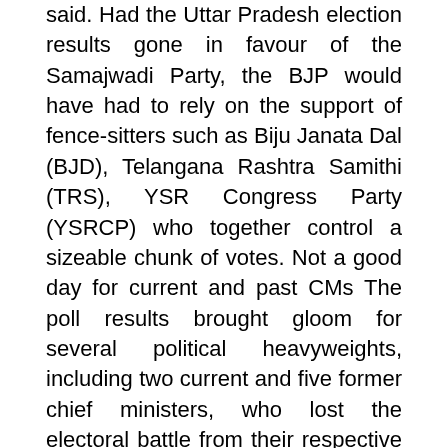said. Had the Uttar Pradesh election results gone in favour of the Samajwadi Party, the BJP would have had to rely on the support of fence-sitters such as Biju Janata Dal (BJD), Telangana Rashtra Samithi (TRS), YSR Congress Party (YSRCP) who together control a sizeable chunk of votes. Not a good day for current and past CMs The poll results brought gloom for several political heavyweights, including two current and five former chief ministers, who lost the electoral battle from their respective seats.
Punjab Chief Minister Charanjit Singh Channi and his Uttarakhand counterpart Pushkar Singh Dhami lost the polls from the seats they held respectively. A similar fate awaited former Uttarakhand chief minister Harish Singh Rawat and former Punjab chief ministers Parkash Singh Badal and Amarinder Singh. Dismal Congress show The election results came as another jolt to Congress which could not retain Punjab or come to power in Uttarakhand,